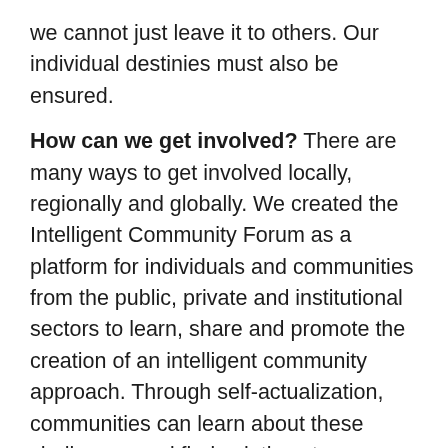we cannot just leave it to others. Our individual destinies must also be ensured.
How can we get involved? There are many ways to get involved locally, regionally and globally. We created the Intelligent Community Forum as a platform for individuals and communities from the public, private and institutional sectors to learn, share and promote the creation of an intelligent community approach. Through self-actualization, communities can learn about these challenges and find solutions to common challenges through investigating the global case studies that ICF offers, or through their links globally, ICF can introduce communities to them. By taking a self-reliance approach and benchmarking their communities to others that ICF has qualified over the years, communities can begin to identify their greatest challenges and use the shared insights from other communities to channel and focus their limited resources in ways that can make their